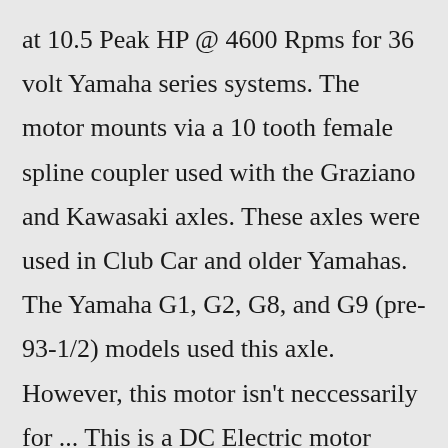at 10.5 Peak HP @ 4600 Rpms for 36 volt Yamaha series systems. The motor mounts via a 10 tooth female spline coupler used with the Graziano and Kawasaki axles. These axles were used in Club Car and older Yamahas. The Yamaha G1, G2, G8, and G9 (pre-93-1/2) models used this axle. However, this motor isn't neccessarily for ... This is a DC Electric motor made by D&amp;D Motor Systems which is rated at